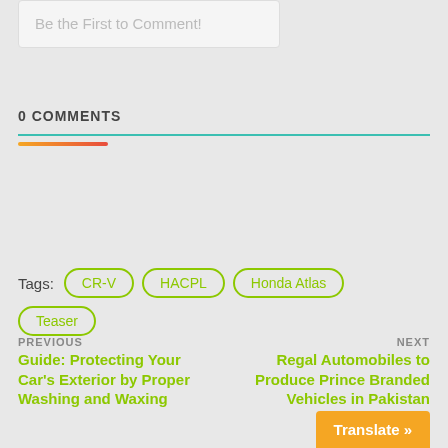Be the First to Comment!
0 COMMENTS
Tags: CR-V  HACPL  Honda Atlas  Teaser
PREVIOUS
Guide: Protecting Your Car's Exterior by Proper Washing and Waxing
NEXT
Regal Automobiles to Produce Prince Branded Vehicles in Pakistan
Translate »